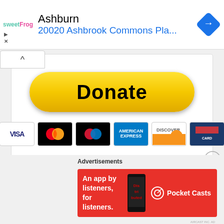[Figure (screenshot): Top advertisement banner showing sweetFrog logo, Ashburn location text '20020 Ashbrook Commons Pla...', and a blue navigation arrow diamond icon]
[Figure (screenshot): PayPal Donate button (yellow pill-shaped) with payment method icons below: Visa, Mastercard, another card, American Express, Discover, and one more card]
[Figure (screenshot): Close/dismiss circle X button icon]
Advertisements
[Figure (screenshot): Pocket Casts advertisement on red background: 'An app by listeners, for listeners.' with Pocket Casts logo and phone image]